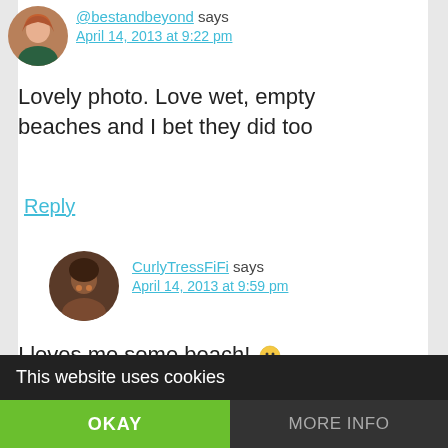[Figure (photo): Circular avatar photo of a woman with red/brown hair]
@bestandbeyond says
April 14, 2013 at 9:22 pm
Lovely photo. Love wet, empty beaches and I bet they did too
Reply
[Figure (photo): Circular avatar photo of a woman with curly dark hair]
CurlyTressFiFi says
April 14, 2013 at 9:59 pm
I loves me some beach! 🙂
Reply
says
This website uses cookies
OKAY
MORE INFO